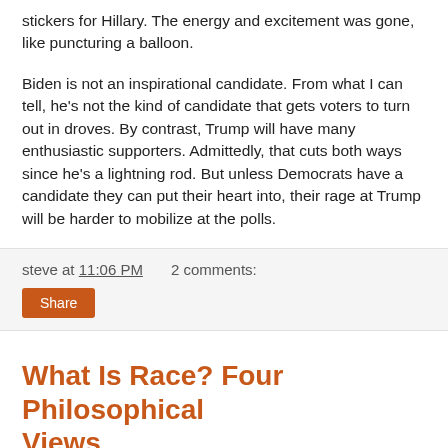stickers for Hillary. The energy and excitement was gone, like puncturing a balloon.
Biden is not an inspirational candidate. From what I can tell, he's not the kind of candidate that gets voters to turn out in droves. By contrast, Trump will have many enthusiastic supporters. Admittedly, that cuts both ways since he's a lightning rod. But unless Democrats have a candidate they can put their heart into, their rage at Trump will be harder to mobilize at the polls.
steve at 11:06 PM    2 comments:
Share
What Is Race? Four Philosophical Views
What Is Race?